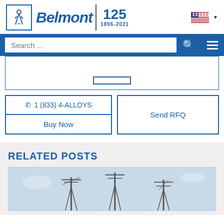[Figure (logo): Belmont logo with figure icon in blue square, Belmont italic bold text, 125th anniversary mark (1896-2021), US flag and dropdown arrow]
Search ...
[Figure (screenshot): Partial content area with a button partially visible]
✆ 1 (833) 4-ALLOYS
Buy Now
Send RFQ
RELATED POSTS
[Figure (photo): Photo of cell towers / antenna structures against a light blue sky]